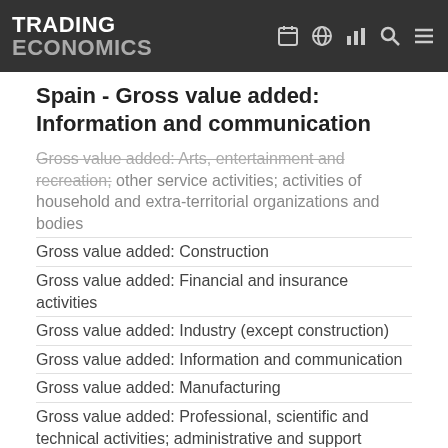TRADING ECONOMICS
Spain - Gross value added: Information and communication
Gross value added: Arts, entertainment and recreation; other service activities; activities of household and extra-territorial organizations and bodies
Gross value added: Construction
Gross value added: Financial and insurance activities
Gross value added: Industry (except construction)
Gross value added: Information and communication
Gross value added: Manufacturing
Gross value added: Professional, scientific and technical activities; administrative and support service activities
Gross value added: Public administration, defence, education, human health and social work activities
Gross value added: Real estate activities
Gross value added: Wholesale and retail trade, transport, accommodation and food service activities
Household saving rate
Households investment rate
Imports of goods and services